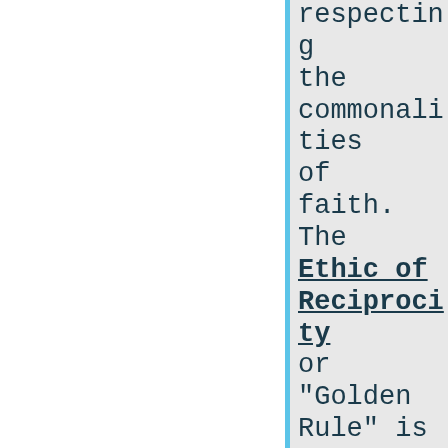respecting the commonalities of faith. The Ethic of Reciprocity or "Golden Rule" is the keystone of Western Civilization. It is arguably the single most important